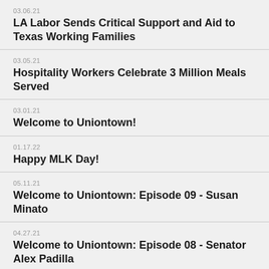03.06.21 — LA Labor Sends Critical Support and Aid to Texas Working Families
03.05.21 — Hospitality Workers Celebrate 3 Million Meals Served
03.01.21 — Welcome to Uniontown!
01.17.22 — Happy MLK Day!
05.11.21 — Welcome to Uniontown: Episode 09 - Susan Minato
04.27.21 — Welcome to Uniontown: Episode 08 - Senator Alex Padilla